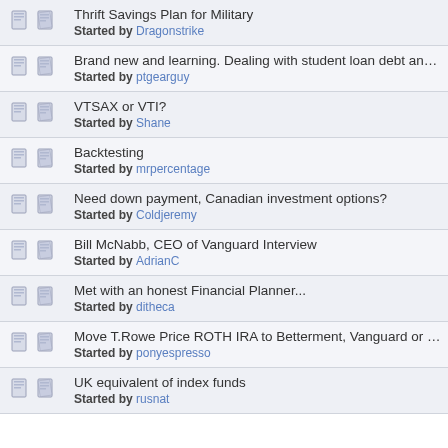Thrift Savings Plan for Military
Started by Dragonstrike
Brand new and learning. Dealing with student loan debt and invest in RRSP..
Started by ptgearguy
VTSAX or VTI?
Started by Shane
Backtesting
Started by mrpercentage
Need down payment, Canadian investment options?
Started by Coldjeremy
Bill McNabb, CEO of Vanguard Interview
Started by AdrianC
Met with an honest Financial Planner...
Started by ditheca
Move T.Rowe Price ROTH IRA to Betterment, Vanguard or Fidelity
Started by ponyespresso
UK equivalent of index funds
Started by rusnat